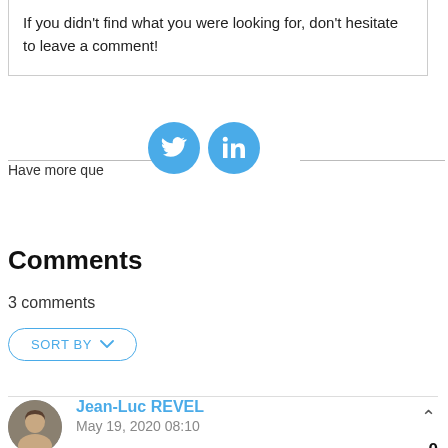If you didn't find what you were looking for, don't hesitate to leave a comment!
[Figure (illustration): Twitter and LinkedIn social media share buttons (blue circular icons)]
Have more que
Comments
3 comments
SORT BY
Jean-Luc REVEL
May 19, 2020 08:10
0